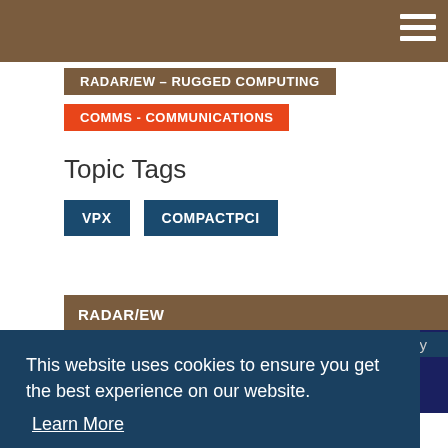RADAR/EW - RUGGED COMPUTING
COMMS - COMMUNICATIONS
Topic Tags
VPX
COMPACTPCI
RADAR/EW
This website uses cookies to ensure you get the best experience on our website.
Learn More
Got it!